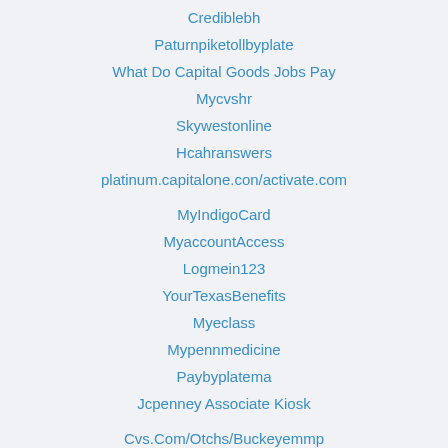Crediblebh
Paturnpiketollbyplate
What Do Capital Goods Jobs Pay
Mycvshr
Skywestonline
Hcahranswers
platinum.capitalone.con/activate.com
MyIndigoCard
MyaccountAccess
Logmein123
YourTexasBenefits
Myeclass
Mypennmedicine
Paybyplatema
Jcpenney Associate Kiosk
Cvs.Com/Otchs/Buckeyemmp
Otc.Essentials.Com